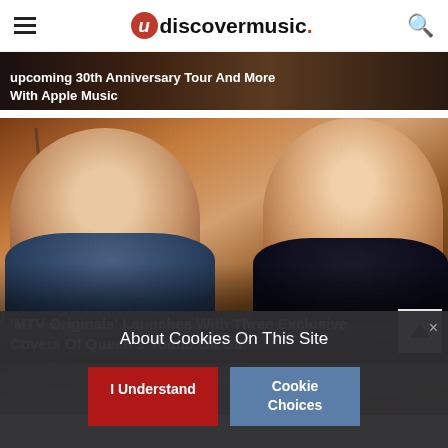udiscovermusic.
[Figure (photo): Partial banner strip showing top of an article about an upcoming 30th Anniversary Tour And More With Apple Music, dark background with text overlay]
[Figure (photo): Photo of two people (older bearded man on left, young smiling woman on right) seated in front of a brick wall background. Article card for MTV Originals Launches With Three Exclusive Covers Of Queen's Radio Ga Ga]
'MTV Originals' Launches With Three Exclusive Covers Of Queen's 'Radio Ga Ga'
[Figure (photo): Partial view of a John Legend article card with gold text on dark background]
About Cookies On This Site
I Understand
Cookie Choices